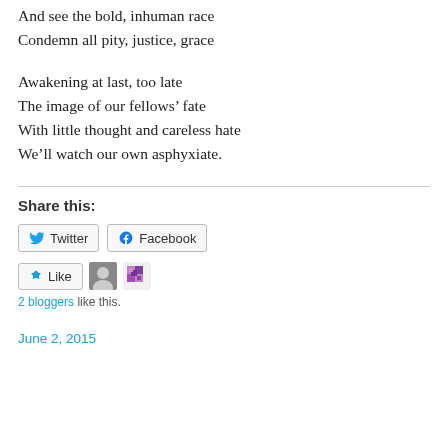And see the bold, inhuman race
Condemn all pity, justice, grace
Awakening at last, too late
The image of our fellows' fate
With little thought and careless hate
We'll watch our own asphyxiate.
Share this:
Twitter  Facebook
Like  2 bloggers like this.
June 2, 2015